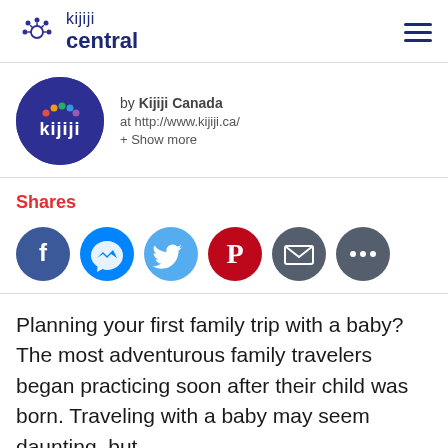kijiji central
[Figure (logo): Kijiji logo circle with colorful dots and 'kijiji' text in white on dark blue/purple background]
by Kijiji Canada
at http://www.kijiji.ca/
+ Show more
Shares
[Figure (infographic): Six social share buttons: Facebook (blue), Messenger (blue), Twitter (light blue), Pinterest (red), Email (grey), More (grey)]
Planning your first family trip with a baby? The most adventurous family travelers began practicing soon after their child was born. Traveling with a baby may seem daunting, but